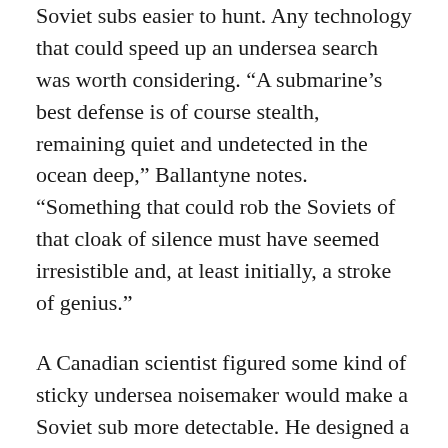Soviet subs easier to hunt. Any technology that could speed up an undersea search was worth considering. “A submarine’s best defense is of course stealth, remaining quiet and undetected in the ocean deep,” Ballantyne notes. “Something that could rob the Soviets of that cloak of silence must have seemed irresistible and, at least initially, a stroke of genius.”
A Canadian scientist figured some kind of sticky undersea noisemaker would make a Soviet sub more detectable. He designed a simple hinged cluster of magnets that could attach to a submarine’s metal hull.